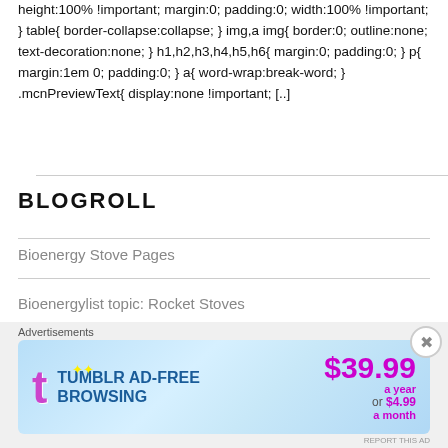height:100% !important; margin:0; padding:0; width:100% !important; } table{ border-collapse:collapse; } img,a img{ border:0; outline:none; text-decoration:none; } h1,h2,h3,h4,h5,h6{ margin:0; padding:0; } p{ margin:1em 0; padding:0; } a{ word-wrap:break-word; } .mcnPreviewText{ display:none !important; [..]
BLOGROLL
Bioenergy Stove Pages
Bioenergylist topic: Rocket Stoves
Biomass Briquette Stoves
Blogging Tips
[Figure (infographic): Tumblr Ad-Free Browsing advertisement banner. Shows Tumblr logo with price $39.99 a year or $4.99 a month. Labels: Advertisements.]